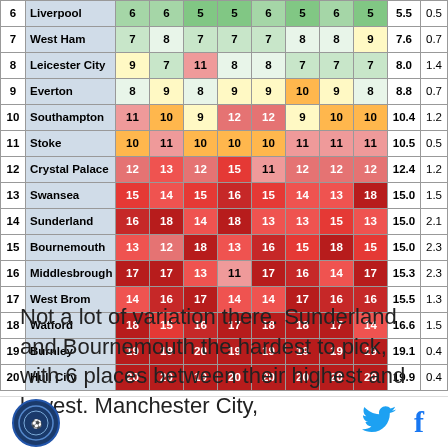| # | Team | R1 | R2 | R3 | R4 | R5 | R6 | R7 | R8 | Avg | SD |
| --- | --- | --- | --- | --- | --- | --- | --- | --- | --- | --- | --- |
| 6 | Liverpool | 6 | 6 | 5 | 5 | 6 | 5 | 6 | 5 | 5.5 | 0.5 |
| 7 | West Ham | 7 | 8 | 7 | 7 | 7 | 8 | 8 | 9 | 7.6 | 0.7 |
| 8 | Leicester City | 9 | 7 | 11 | 8 | 8 | 7 | 7 | 7 | 8.0 | 1.4 |
| 9 | Everton | 8 | 9 | 8 | 9 | 9 | 10 | 9 | 8 | 8.8 | 0.7 |
| 10 | Southampton | 11 | 10 | 9 | 12 | 12 | 9 | 10 | 10 | 10.4 | 1.2 |
| 11 | Stoke | 10 | 11 | 10 | 10 | 10 | 11 | 11 | 11 | 10.5 | 0.5 |
| 12 | Crystal Palace | 12 | 13 | 12 | 15 | 11 | 12 | 12 | 12 | 12.4 | 1.2 |
| 13 | Swansea | 15 | 14 | 15 | 16 | 15 | 14 | 13 | 18 | 15.0 | 1.5 |
| 14 | Sunderland | 16 | 18 | 14 | 18 | 13 | 13 | 15 | 13 | 15.0 | 2.1 |
| 15 | Bournemouth | 13 | 12 | 18 | 13 | 16 | 15 | 18 | 15 | 15.0 | 2.3 |
| 16 | Middlesbrough | 17 | 17 | 13 | 11 | 17 | 16 | 14 | 17 | 15.3 | 2.3 |
| 17 | West Brom | 14 | 16 | 17 | 14 | 14 | 17 | 16 | 16 | 15.5 | 1.3 |
| 18 | Watford | 18 | 15 | 16 | 17 | 18 | 18 | 17 | 14 | 16.6 | 1.5 |
| 19 | Burnley | 19 | 19 | 20 | 19 | 19 | 19 | 19 | 19 | 19.1 | 0.4 |
| 20 | Hull City | 20 | 20 | 19 | 20 | 20 | 20 | 20 | 20 | 19.9 | 0.4 |
Not a lot of variation there. Sunderland and Bournemouth the hardest to pick, with 6 places between their highest and lowest. Manchester City,
[Figure (logo): Sports website logo - circular blue badge]
[Figure (illustration): Twitter bird icon in blue]
[Figure (illustration): Facebook f icon in blue]